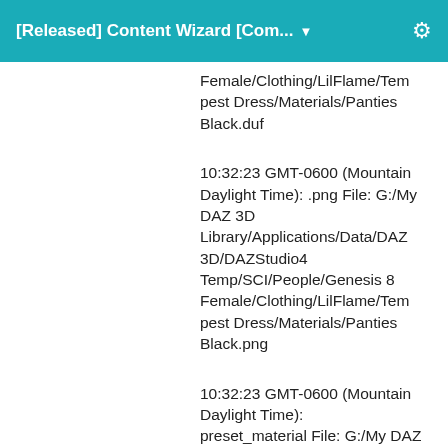[Released] Content Wizard [Com... ▼
Female/Clothing/LilFlame/Tempest Dress/Materials/Panties Black.duf
10:32:23 GMT-0600 (Mountain Daylight Time): .png File: G:/My DAZ 3D Library/Applications/Data/DAZ 3D/DAZStudio4 Temp/SCI/People/Genesis 8 Female/Clothing/LilFlame/Tempest Dress/Materials/Panties Black.png
10:32:23 GMT-0600 (Mountain Daylight Time): preset_material File: G:/My DAZ 3D